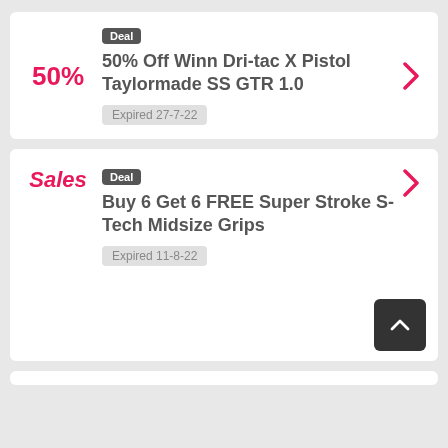Deal
50% Off Winn Dri-tac X Pistol Taylormade SS GTR 1.0
Expired 27-7-22
Deal
Buy 6 Get 6 FREE Super Stroke S-Tech Midsize Grips
Expired 11-8-22